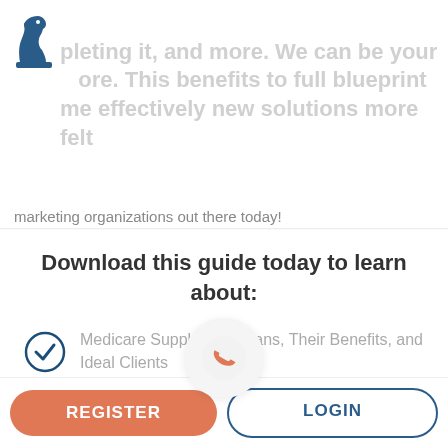[Figure (logo): Blue chess knight logo in top left corner]
marketing organizations out there today!
Download this guide today to learn about:
Medicare Supplement Plans, Their Benefits, and Ideal Clients
The Best Way to sell Medicare Supplements
[Figure (infographic): Orange/salmon phone handset icon inside a white circular button overlay]
REGISTER | LOGIN